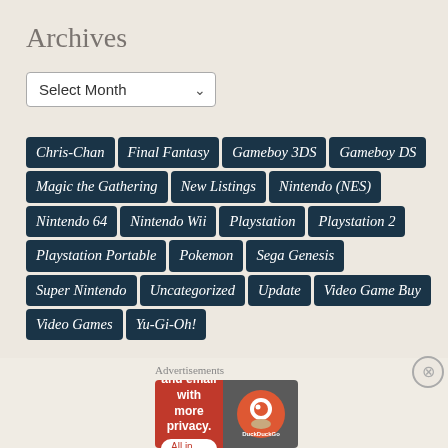Archives
Select Month
Chris-Chan
Final Fantasy
Gameboy 3DS
Gameboy DS
Magic the Gathering
New Listings
Nintendo (NES)
Nintendo 64
Nintendo Wii
Playstation
Playstation 2
Playstation Portable
Pokemon
Sega Genesis
Super Nintendo
Uncategorized
Update
Video Game Buy
Video Games
Yu-Gi-Oh!
Tags
Advertisements
Search, browse, and email with more privacy. All in One Free App